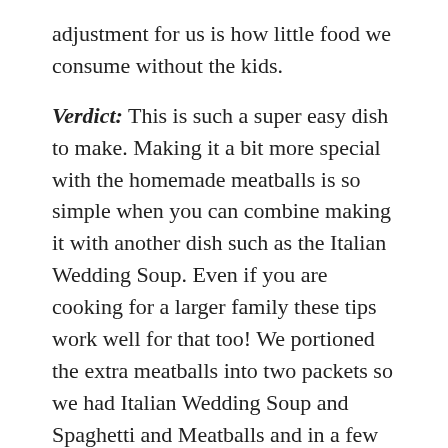adjustment for us is how little food we consume without the kids.
Verdict: This is such a super easy dish to make. Making it a bit more special with the homemade meatballs is so simple when you can combine making it with another dish such as the Italian Wedding Soup. Even if you are cooking for a larger family these tips work well for that too! We portioned the extra meatballs into two packets so we had Italian Wedding Soup and Spaghetti and Meatballs and in a few weeks we will have Meatball Subs. I love having these on hand. Remember double or triple the meatball recipe.
Ingredients:
Meatball Recipe